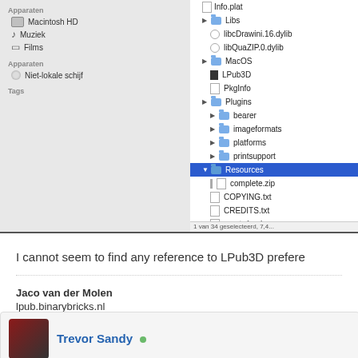[Figure (screenshot): macOS Finder window showing file tree with Resources folder selected (highlighted blue). File list includes: Info.plat, Libs folder (libcDrawini.16.dylib, libQuaZIP.0.dylib), MacOS folder (LPub3D, PkgInfo), Plugins folder (bearer, imageformats, platforms, printsupport), Resources folder selected (complete.zip, COPYING.txt, CREDITS.txt, empty.lproj, excludedParts.lst, fadeStepColorParts.lst, ldraw_document.icns, lpub3d.icns, lpub3ddrawunit.zip, pi.mpd, qt.conf, README.txt). Sidebar shows Macintosh HD, Muziek, Films, Apparaten section, Niet-lokale schijf, Tags section.]
I cannot seem to find any reference to LPub3D prefere
Jaco van der Molen
lpub.binarybricks.nl
[Figure (screenshot): Find button with magnifying glass icon]
Trevor Sandy